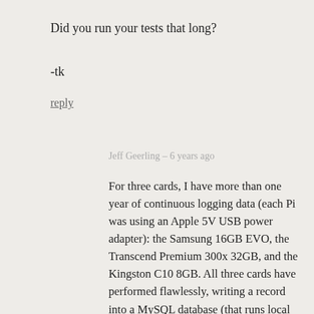Did you run your tests that long?
-tk
reply
Jeff Geerling – 6 years ago
For three cards, I have more than one year of continuous logging data (each Pi was using an Apple 5V USB power adapter): the Samsung 16GB EVO, the Transcend Premium 300x 32GB, and the Kingston C10 8GB. All three cards have performed flawlessly, writing a record into a MySQL database (that runs local on that card) every 30 seconds, 24x7.
I've also tested both the SanDisk Extreme and Samsung EVO for the past 3 months hosting http://www.pidramble.com/, on a 6-Pi2 cluster that runs Nginx, PHP, and MySQL. There are far fewer writes in that scenario, but logs are written to disk, and there's a small but steady amount of traffic to that site.
In all cases, I have not had any corruptions or failures